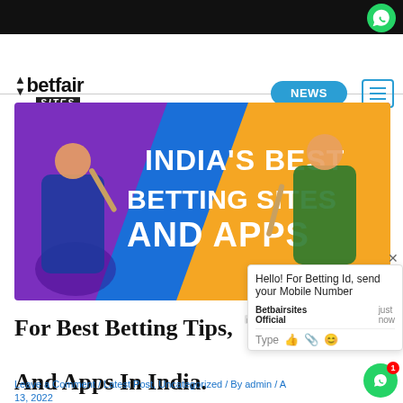betfair SITES | NEWS
[Figure (illustration): India's Best Betting Sites And Apps promotional banner with two cricket players on purple/yellow background]
Hello! For Betting Id, send your Mobile Number
Betbairsites Official
just now
Type
For Best Betting Tips, Sites And Apps In India.
Leave a Comment / Latest Post, Uncategorized / By admin / Apr 13, 2022